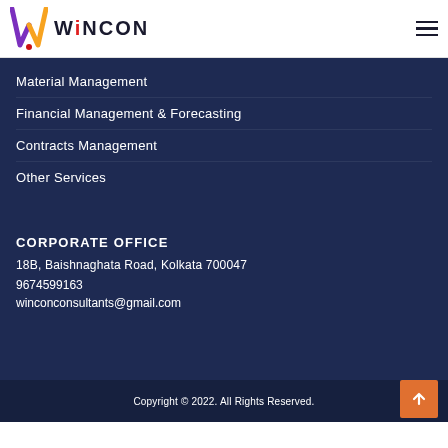[Figure (logo): WiNCON logo with colorful W mark and bold text]
Material Management
Financial Management & Forecasting
Contracts Management
Other Services
CORPORATE OFFICE
18B, Baishnaghata Road, Kolkata 700047
9674599163
winconconsultants@gmail.com
Copyright © 2022. All Rights Reserved.